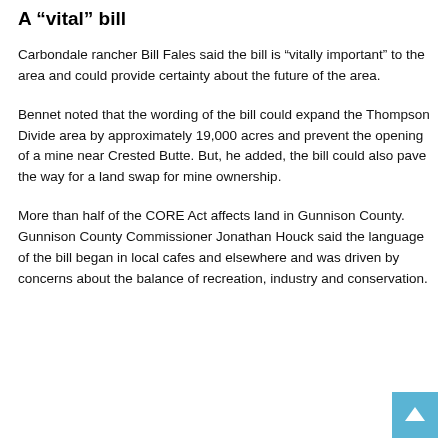A “vital” bill
Carbondale rancher Bill Fales said the bill is “vitally important” to the area and could provide certainty about the future of the area.
Bennet noted that the wording of the bill could expand the Thompson Divide area by approximately 19,000 acres and prevent the opening of a mine near Crested Butte. But, he added, the bill could also pave the way for a land swap for mine ownership.
More than half of the CORE Act affects land in Gunnison County. Gunnison County Commissioner Jonathan Houck said the language of the bill began in local cafes and elsewhere and was driven by concerns about the balance of recreation, industry and conservation.